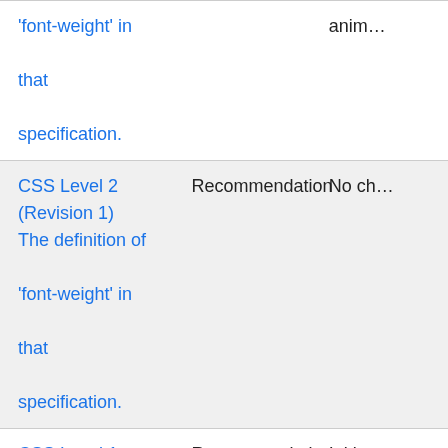| Specification | Status | Comment |
| --- | --- | --- |
| CSS Level 2 (Revision 1)
The definition of 'font-weight' in that specification. | Recommendation | No ch… |
| CSS Level 1
The definition of 'font-weight' in that… | Recommendation | Initia… defin… |